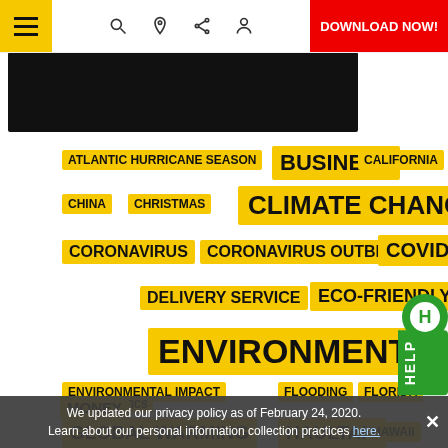Navigation bar with hamburger menu, search, location, share, profile icons, and DOWNLOAD NOW button
[Figure (photo): Dark hero image/photo (mostly black background)]
[Figure (infographic): Tag cloud with topics: ATLANTIC HURRICANE SEASON, BUSINESS, CALIFORNIA, CHINA, CHRISTMAS, CLIMATE CHANGE, CORONAVIRUS, CORONAVIRUS OUTBREAK, COVID-19, DELIVERY SERVICE, ECO-FRIENDLY, ENVIRONMENT, ENVIRONMENTAL IMPACT, FLOODING, FLORIDA, GLOBAL WARMING, HAULTAIL, HAWAII, HEALTH, HURRICANE, HURRICANE DORIAN, LIFESTYLE, MAKE MONEY, MICROPLASTICS, MONEY, NATIONAL HURRICANE CENTER, OCEAN POLLUTION, PEOPLE, PLASTIC]
We updated our privacy policy as of February 24, 2020. Learn about our personal information collection practices here.